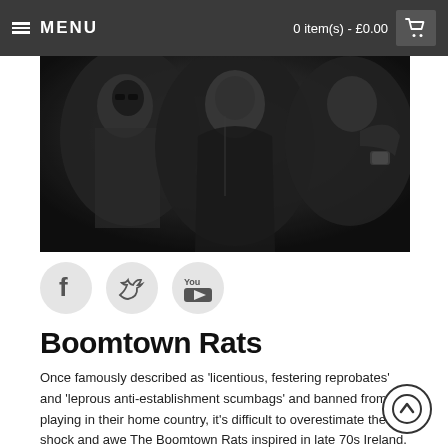MENU   0 item(s) - £0.00
[Figure (photo): Black and white photograph of three members of Boomtown Rats band, dressed in dark clothing against a dark background]
[Figure (other): Social media icons: Facebook (f), Twitter (bird), YouTube (You/Tube) — circular grey buttons]
Boomtown Rats
Once famously described as 'licentious, festering reprobates' and 'leprous anti-establishment scumbags' and banned from playing in their home country, it's difficult to overestimate the shock and awe The Boomtown Rats inspired in late 70s Ireland. Fronted by "one of Irelands greatest lyricists" (Hot Press), they set out to "disrupt, disturb and question what it meant to be young in the Ireland of the